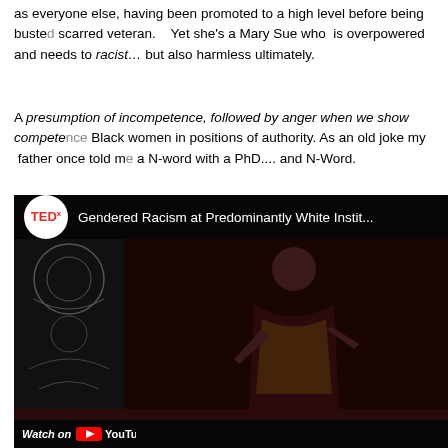as everyone else, having been promoted to a high level before being busted scarred veteran.   Yet she's a Mary Sue who  is overpowered and needs to racist… but also harmless ultimately.
A presumption of incompetence, followed by anger when we show competence Black women in positions of authority. As an old joke my father once told m a N-word with a PhD.... and N-Word.
[Figure (screenshot): TEDx YouTube video thumbnail showing a Black woman speaking on stage with title 'Gendered Racism at Predominantly White Instit...' with a YouTube play button overlay and Watch on YouTube bar at bottom.]